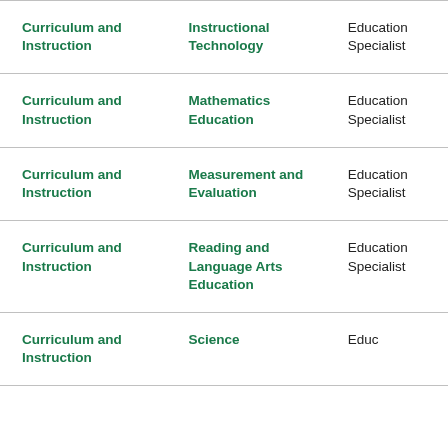| Department | Specialization | Degree |
| --- | --- | --- |
| Curriculum and Instruction | Instructional Technology | Education Specialist |
| Curriculum and Instruction | Mathematics Education | Education Specialist |
| Curriculum and Instruction | Measurement and Evaluation | Education Specialist |
| Curriculum and Instruction | Reading and Language Arts Education | Education Specialist |
| Curriculum and Instruction | Science... | Educ... |